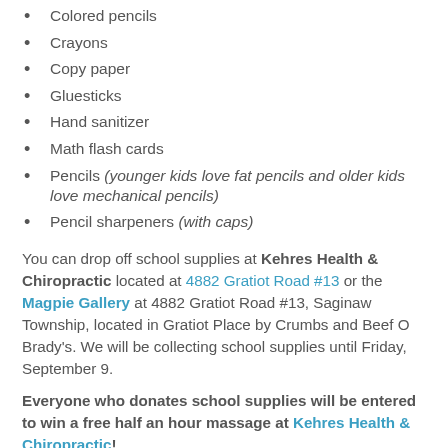Colored pencils
Crayons
Copy paper
Gluesticks
Hand sanitizer
Math flash cards
Pencils (younger kids love fat pencils and older kids love mechanical pencils)
Pencil sharpeners (with caps)
You can drop off school supplies at Kehres Health & Chiropractic located at 4882 Gratiot Road #13 or the Magpie Gallery at 4882 Gratiot Road #13, Saginaw Township, located in Gratiot Place by Crumbs and Beef O Brady's. We will be collecting school supplies until Friday, September 9.
Everyone who donates school supplies will be entered to win a free half an hour massage at Kehres Health & Chiropractic!